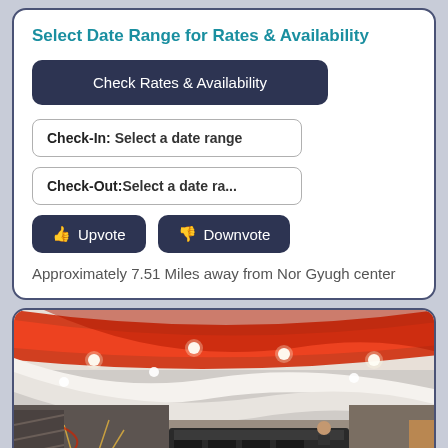Select Date Range for Rates & Availability
Check Rates & Availability
Check-In: Select a date range
Check-Out:Select a date ra...
👍 Upvote
👎 Downvote
Approximately 7.51 Miles away from Nor Gyugh center
[Figure (photo): Hotel lobby interior with curved red-lit ceiling, reception desk, and decorative elements]